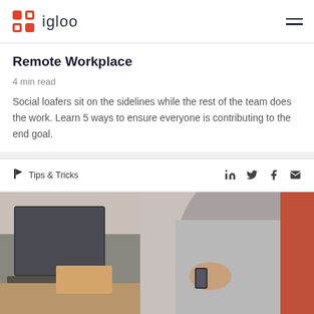igloo
Remote Workplace
4 min read
Social loafers sit on the sidelines while the rest of the team does the work. Learn 5 ways to ensure everyone is contributing to the end goal.
Tips & Tricks
[Figure (photo): Person holding a smartphone near a laptop on a desk, blurred background with warm tones]